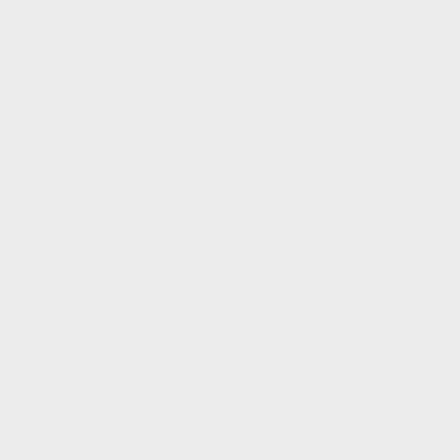App-githook-perltidy
App-githook_perltidy
App-GitHooks
App-GitHooks-Plugin-BlockNOCOMMIT
App-GitHooks-Plugin-BlockProductionCommits
App-GitHooks-Plugin-DetectCommitAuthor
App-GitHooks-Plugin-ForceBranchNamePattern
App-GitHooks-Plugin-ForceRegularUpdate
App-GitHooks-Plugin-MatchBranchPattern
App-GitHooks-Plugin-NotifyReleasers
App-GitHooks-Plugin-PerlCompile
App-GitHooks-Plugin-PerlCritic